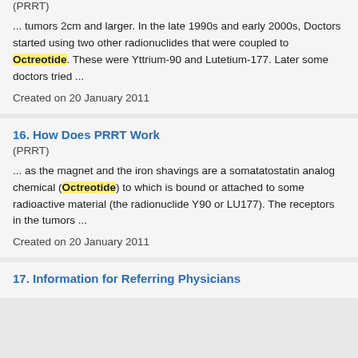(PRRT)
... tumors 2cm and larger. In the late 1990s and early 2000s, Doctors started using two other radionuclides that were coupled to Octreotide. These were Yttrium-90 and Lutetium-177. Later some doctors tried ...
Created on 20 January 2011
16. How Does PRRT Work
(PRRT)
... as the magnet and the iron shavings are a somatatostatin analog chemical (Octreotide) to which is bound or attached to some radioactive material (the radionuclide Y90 or LU177). The receptors in the tumors ...
Created on 20 January 2011
17. Information for Referring Physicians